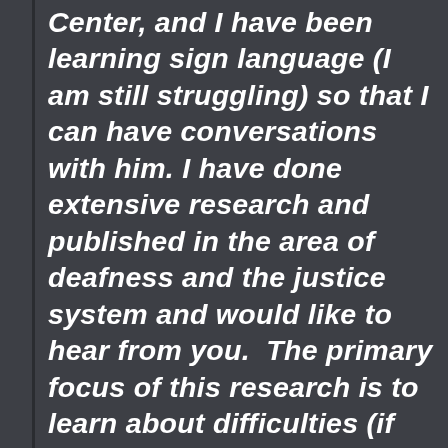Center, and I have been learning sign language (I am still struggling) so that I can have conversations with him. I have done extensive research and published in the area of deafness and the justice system and would like to hear from you. The primary focus of this research is to learn about difficulties (if any) experienced as a result of the your deafness or other disability, making communication difficult